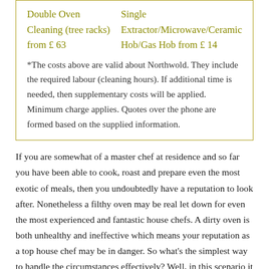Double Oven Cleaning (tree racks) from £ 63
Single Extractor/Microwave/Ceramic Hob/Gas Hob from £ 14
*The costs above are valid about Northwold. They include the required labour (cleaning hours). If additional time is needed, then supplementary costs will be applied. Minimum charge applies. Quotes over the phone are formed based on the supplied information.
If you are somewhat of a master chef at residence and so far you have been able to cook, roast and prepare even the most exotic of meals, then you undoubtedly have a reputation to look after. Nonetheless a filthy oven may be real let down for even the most experienced and fantastic house chefs. A dirty oven is both unhealthy and ineffective which means your reputation as a top house chef may be in danger. So what's the simplest way to handle the circumstances effectively? Well, in this scenario it could be to use our services as professional oven cleaners. Northwold households won't